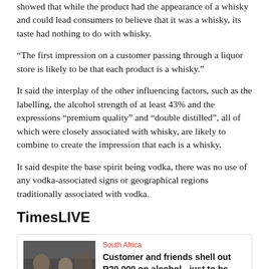showed that while the product had the appearance of a whisky and could lead consumers to believe that it was a whisky, its taste had nothing to do with whisky.
“The first impression on a customer passing through a liquor store is likely to be that each product is a whisky.”
It said the interplay of the other influencing factors, such as the labelling, the alcohol strength of at least 43% and the expressions “premium quality” and “double distilled”, all of which were closely associated with whisky, are likely to combine to create the impression that each is a whisky.
It said despite the base spirit being vodka, there was no use of any vodka-associated signs or geographical regions traditionally associated with vodka.
TimesLIVE
[Figure (photo): News article card with thumbnail photo of people in a store/bar setting, tagged 'South Africa', titled 'Customer and friends shell out R20,000 on alcohol - just to be safe']